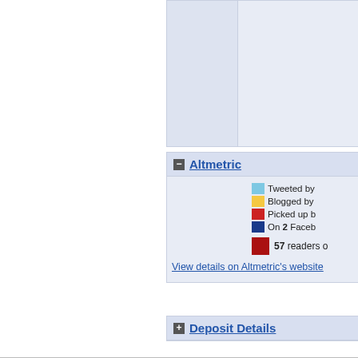[Figure (table-as-image): Partial table with two columns showing light blue background, cropped at top]
− Altmetric
Tweeted by
Blogged by
Picked up b
On 2 Faceb
57 readers o
View details on Altmetric's website
+ Deposit Details